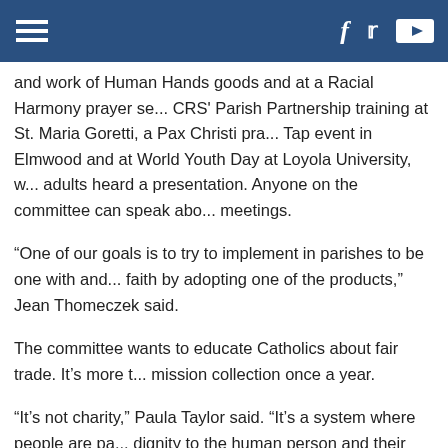[Navigation bar with hamburger menu and social icons: Facebook, Twitter, YouTube]
and work of Human Hands goods and at a Racial Harmony prayer se... CRS' Parish Partnership training at St. Maria Goretti, a Pax Christi pra... Tap event in Elmwood and at World Youth Day at Loyola University, w... adults heard a presentation. Anyone on the committee can speak abo... meetings.
“One of our goals is to try to implement in parishes to be one with and... faith by adopting one of the products,” Jean Thomeczek said.
The committee wants to educate Catholics about fair trade. It’s more t... mission collection once a year.
“It’s not charity,” Paula Taylor said. “It’s a system where people are pa... dignity to the human person and their work.”
Parishes and other groups could easily embrace fair trade without mu...